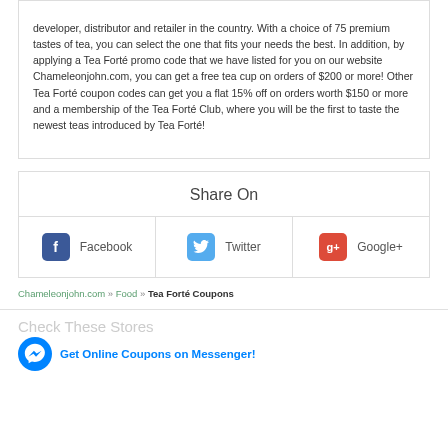developer, distributor and retailer in the country. With a choice of 75 premium tastes of tea, you can select the one that fits your needs the best. In addition, by applying a Tea Forté promo code that we have listed for you on our website Chameleonjohn.com, you can get a free tea cup on orders of $200 or more! Other Tea Forté coupon codes can get you a flat 15% off on orders worth $150 or more and a membership of the Tea Forté Club, where you will be the first to taste the newest teas introduced by Tea Forté!
Share On
[Figure (infographic): Share On section with three social media buttons: Facebook (blue), Twitter (light blue), Google+ (red)]
Chameleonjohn.com » Food » Tea Forté Coupons
Check These Stores
Get Online Coupons on Messenger!